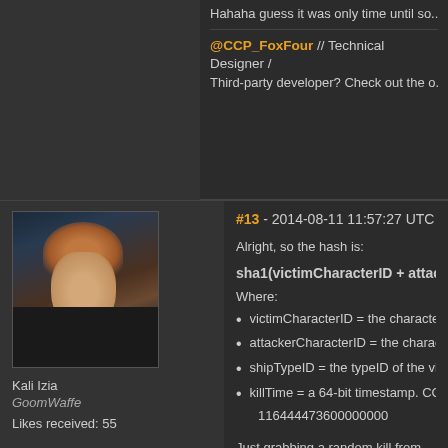Hahaha guess it was only time until so...
@CCP_FoxFour // Technical Designer / Third-party developer? Check out the o...
[Figure (illustration): Game character avatar showing a woman with auburn short hair wearing dark clothing, sci-fi game art style]
Kali Izia
GoomWaffe
Likes received: 55
#13 - 2014-08-11 11:57:27 UTC
Alright, so the hash is:
Where:
victimCharacterID = the character ID... is the string "None" instead
attackerCharacterID = the character... this is the string "None" instead
shipTypeID = the typeID of the victim...
killTime = a 64-bit timestamp. CCP l... so you can use the following math to co... 116444473600000000
Just grabbing a random kill from the fro...